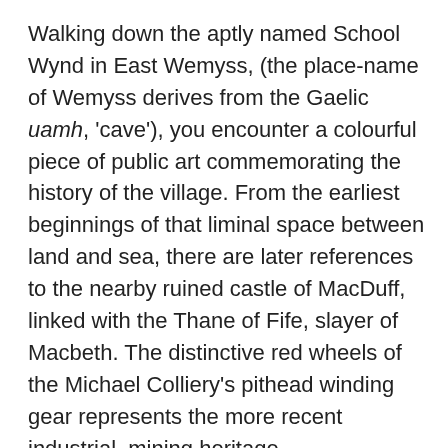Walking down the aptly named School Wynd in East Wemyss, (the place-name of Wemyss derives from the Gaelic uamh, 'cave'), you encounter a colourful piece of public art commemorating the history of the village. From the earliest beginnings of that liminal space between land and sea, there are later references to the nearby ruined castle of MacDuff, linked with the Thane of Fife, slayer of Macbeth. The distinctive red wheels of the Michael Colliery's pithead winding gear represents the more recent industrial, mining heritage.
Like the whorls on a snail's shell, an unfolding of time layered on place.
This place.
A place which holds and retains memory.